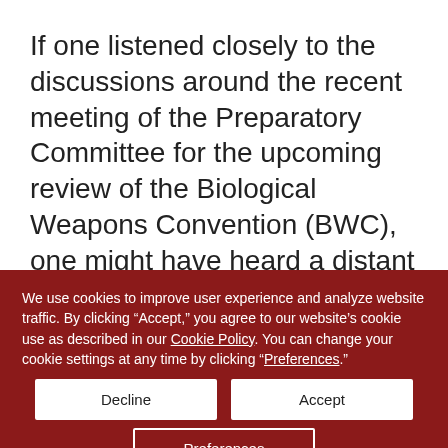If one listened closely to the discussions around the recent meeting of the Preparatory Committee for the upcoming review of the Biological Weapons Convention (BWC), one might have heard a distant rumble of concern. These worries stem from the widespread recognition that advances in the life sciences are progressing at a rate faster than the treaty seems able to keep pace with
We use cookies to improve user experience and analyze website traffic. By clicking “Accept,” you agree to our website’s cookie use as described in our Cookie Policy. You can change your cookie settings at any time by clicking “Preferences.”
Decline
Accept
Preferences